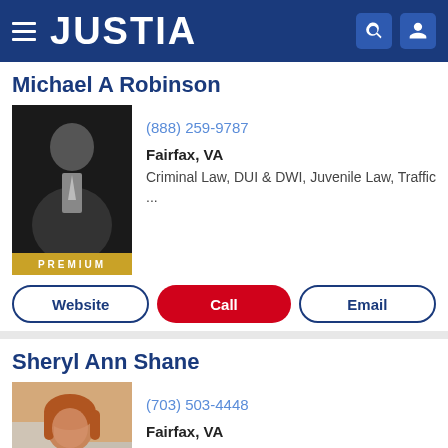JUSTIA
Michael A Robinson
(888) 259-9787
Fairfax, VA
Criminal Law, DUI & DWI, Juvenile Law, Traffic ...
PREMIUM
Website | Call | Email
Sheryl Ann Shane
(703) 503-4448
Fairfax, VA
Criminal Law, DUI & DWI, Domestic Violence, ...
PREMIUM
Website | Call | Email